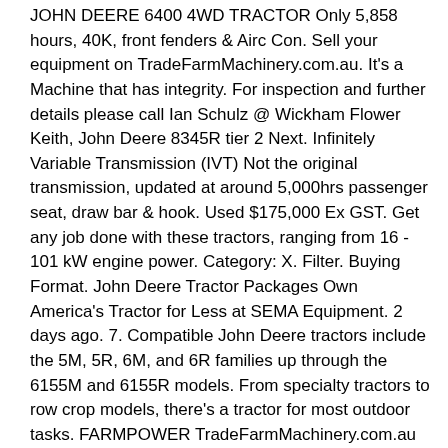JOHN DEERE 6400 4WD TRACTOR Only 5,858 hours, 40K, front fenders & Airc Con. Sell your equipment on TradeFarmMachinery.com.au. It's a Machine that has integrity. For inspection and further details please call Ian Schulz @ Wickham Flower Keith, John Deere 8345R tier 2 Next. Infinitely Variable Transmission (IVT) Not the original transmission, updated at around 5,000hrs passenger seat, draw bar & hook. Used $175,000 Ex GST. Get any job done with these tractors, ranging from 16 - 101 kW engine power. Category: X. Filter. Buying Format. John Deere Tractor Packages Own America's Tractor for Less at SEMA Equipment. 2 days ago. 7. Compatible John Deere tractors include the 5M, 5R, 6M, and 6R families up through the 6155M and 6155R models. From specialty tractors to row crop models, there's a tractor for most outdoor tasks. FARMPOWER TradeFarmMachinery.com.au is the home of Farms & Farm Machinery magazine and has over 40,000 new and used agricultural machinery items for sale across a wide range of farming categories including agricultural parts, tractors, UTVs/ATVs, seeder drills, sheds, spreaders, tillage & seeding, backhoe loaders, mini tractors, sub-